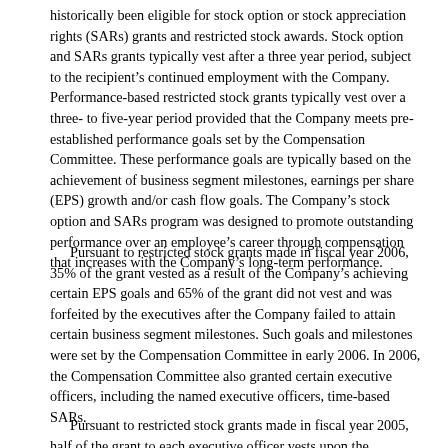historically been eligible for stock option or stock appreciation rights (SARs) grants and restricted stock awards. Stock option and SARs grants typically vest after a three year period, subject to the recipient's continued employment with the Company. Performance-based restricted stock grants typically vest over a three- to five-year period provided that the Company meets pre-established performance goals set by the Compensation Committee. These performance goals are typically based on the achievement of business segment milestones, earnings per share (EPS) growth and/or cash flow goals. The Company's stock option and SARs program was designed to promote outstanding performance over an employee's career through compensation that increases with the Company's long-term performance.
Pursuant to restricted stock grants made in fiscal year 2006, 35% of the grant vested as a result of the Company's achieving certain EPS goals and 65% of the grant did not vest and was forfeited by the executives after the Company failed to attain certain business segment milestones. Such goals and milestones were set by the Compensation Committee in early 2006. In 2006, the Compensation Committee also granted certain executive officers, including the named executive officers, time-based SARs.
Pursuant to restricted stock grants made in fiscal year 2005, half of the grant to each executive officer vests upon the